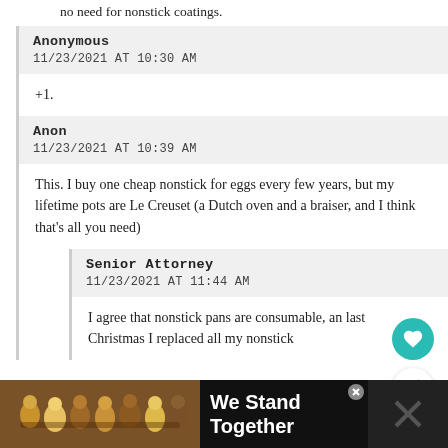no need for nonstick coatings.
Anonymous
11/23/2021 AT 10:30 AM
+1.
Anon
11/23/2021 AT 10:39 AM
This. I buy one cheap nonstick for eggs every few years, but my lifetime pots are Le Creuset (a Dutch oven and a braiser, and I think that’s all you need)
Senior Attorney
11/23/2021 AT 11:44 AM
I agree that nonstick pans are consumable, an last Christmas I replaced all my nonstick
[Figure (photo): Advertisement banner at the bottom: group of people with arms around each other, text reads 'We Stand Together']